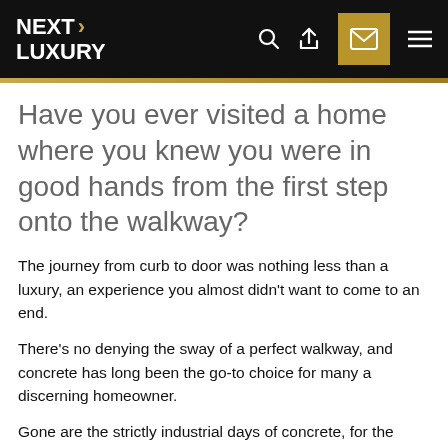NEXT LUXURY
Have you ever visited a home where you knew you were in good hands from the first step onto the walkway?
The journey from curb to door was nothing less than a luxury, an experience you almost didn't want to come to an end.
There's no denying the sway of a perfect walkway, and concrete has long been the go-to choice for many a discerning homeowner.
Gone are the strictly industrial days of concrete, for the concrete path is truly a work of both landscaping art and genius craftsmanship. Stamped or colored, lined with brick or inlaid with stone–there is truly no limit to